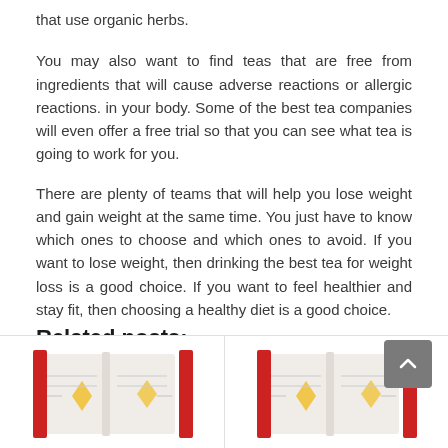that use organic herbs.
You may also want to find teas that are free from ingredients that will cause adverse reactions or allergic reactions. in your body. Some of the best tea companies will even offer a free trial so that you can see what tea is going to work for you.
There are plenty of teams that will help you lose weight and gain weight at the same time. You just have to know which ones to choose and which ones to avoid. If you want to lose weight, then drinking the best tea for weight loss is a good choice. If you want to feel healthier and stay fit, then choosing a healthy diet is a good choice.
Related posts:
[Figure (illustration): Two book illustration thumbnails side by side at the bottom of the page, each showing an open book with red covers and a small graphic element.]